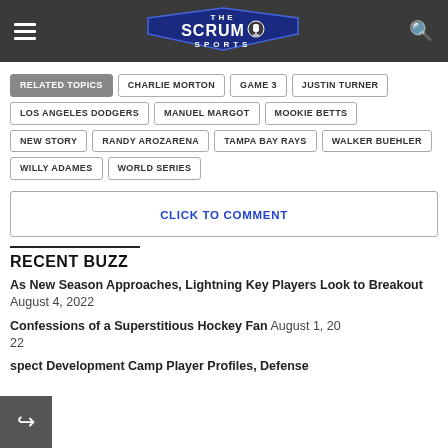The Scrum Sports
RELATED TOPICS | CHARLIE MORTON | GAME 3 | JUSTIN TURNER | LOS ANGELES DODGERS | MANUEL MARGOT | MOOKIE BETTS | NEW STORY | RANDY AROZARENA | TAMPA BAY RAYS | WALKER BUEHLER | WILLY ADAMES | WORLD SERIES
CLICK TO COMMENT
RECENT BUZZ
As New Season Approaches, Lightning Key Players Look to Breakout August 4, 2022
Confessions of a Superstitious Hockey Fan August 1, 2022
spect Development Camp Player Profiles, Defense